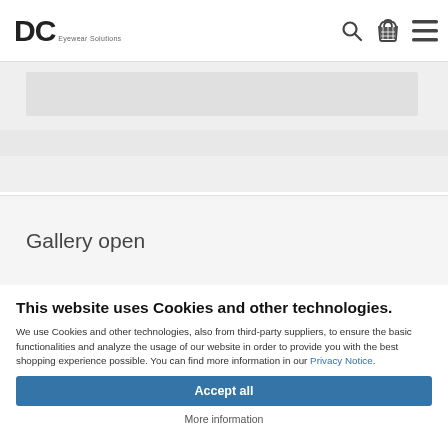DC [logo with subtitle icons: search, basket, menu]
Gallery open
This website uses Cookies and other technologies.
We use Cookies and other technologies, also from third-party suppliers, to ensure the basic functionalities and analyze the usage of our website in order to provide you with the best shopping experience possible. You can find more information in our Privacy Notice.
Accept all
More information